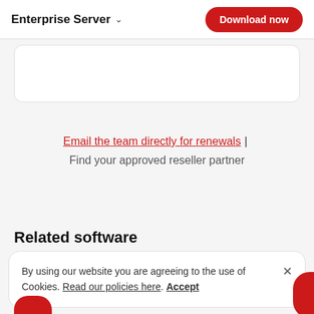Enterprise Server ∨  Download now
Email the team directly for renewals | Find your approved reseller partner
Related software
By using our website you are agreeing to the use of Cookies. Read our policies here. Accept